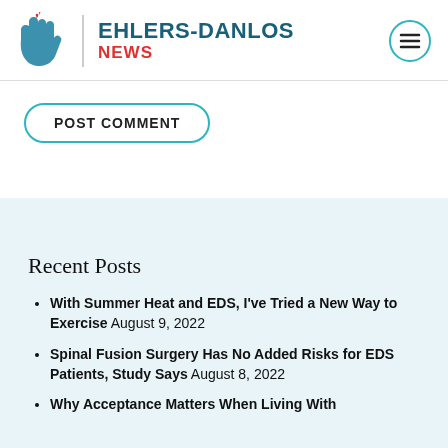EHLERS-DANLOS NEWS
POST COMMENT
Recent Posts
With Summer Heat and EDS, I've Tried a New Way to Exercise August 9, 2022
Spinal Fusion Surgery Has No Added Risks for EDS Patients, Study Says August 8, 2022
Why Acceptance Matters When Living With